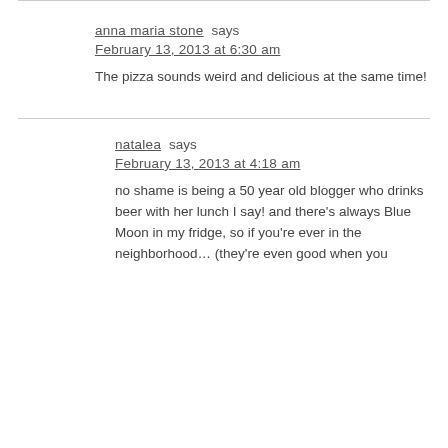anna maria stone says
February 13, 2013 at 6:30 am
The pizza sounds weird and delicious at the same time!
natalea says
February 13, 2013 at 4:18 am
no shame is being a 50 year old blogger who drinks beer with her lunch I say! and there's always Blue Moon in my fridge, so if you're ever in the neighborhood… (they're even good when you